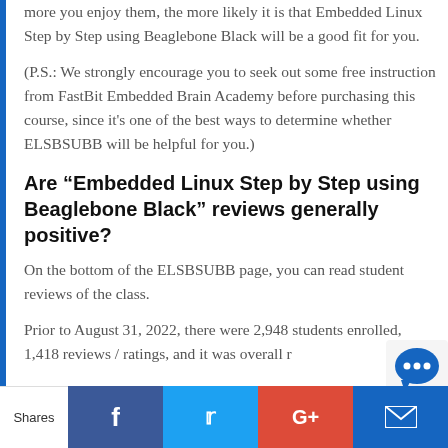more you enjoy them, the more likely it is that Embedded Linux Step by Step using Beaglebone Black will be a good fit for you.
(P.S.: We strongly encourage you to seek out some free instruction from FastBit Embedded Brain Academy before purchasing this course, since it’s one of the best ways to determine whether ELSBSUBB will be helpful for you.)
Are “Embedded Linux Step by Step using Beaglebone Black” reviews generally positive?
On the bottom of the ELSBSUBB page, you can read student reviews of the class.
Prior to August 31, 2022, there were 2,948 students enrolled, 1,418 reviews / ratings, and it was overall r
Shares | Facebook | Twitter | Google+ | Mail